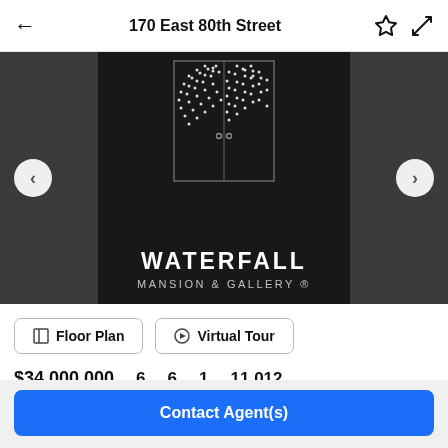170 East 80th Street
[Figure (photo): Waterfall Mansion & Gallery logo on dark background with decorative door/window pattern made of white dots]
Floor Plan   Virtual Tour
$34,000,000   6   6   1   11,012
Contact Agent(s)